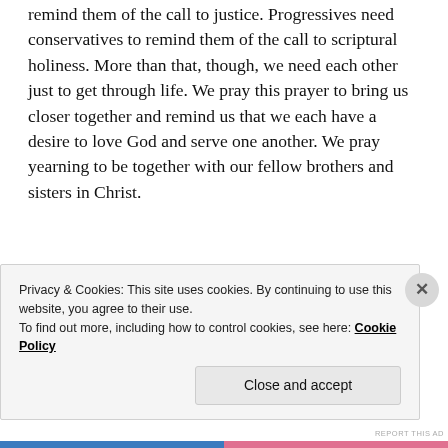remind them of the call to justice. Progressives need conservatives to remind them of the call to scriptural holiness. More than that, though, we need each other just to get through life. We pray this prayer to bring us closer together and remind us that we each have a desire to love God and serve one another. We pray yearning to be together with our fellow brothers and sisters in Christ.
Advertisements
[Figure (other): Automattic advertisement: logo and tagline 'Build a better web and a better world.']
One in ministry to all the world – The work of the church is challenging. There are people who need to hear the love of
Privacy & Cookies: This site uses cookies. By continuing to use this website, you agree to their use. To find out more, including how to control cookies, see here: Cookie Policy
Close and accept